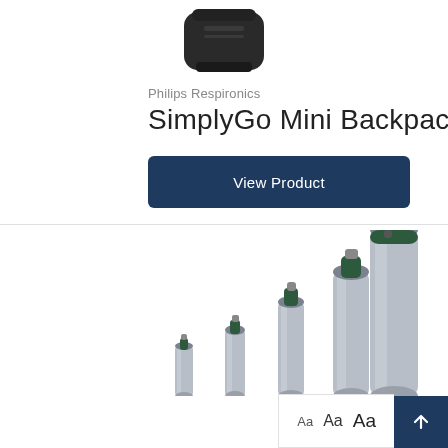[Figure (photo): Black backpack/carry case for medical oxygen concentrator, shown from slightly above against white background]
Philips Respironics
SimplyGo Mini Backpack, Black
View Product
[Figure (photo): Five medical oxygen cylinders of increasing height arranged left to right, with dark green tops and silver/aluminum bodies, partially cut off at bottom of image]
Aa Aa Aa